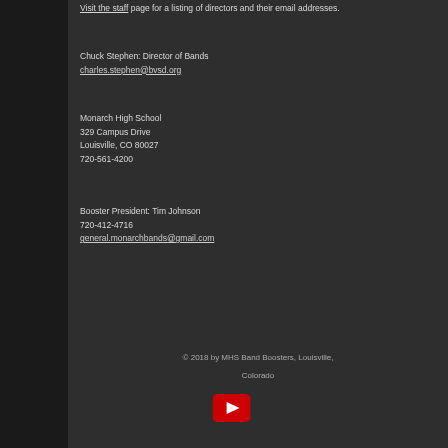Visit the staff page for a listing of directors and their email addresses.
Chuck Stephen: Director of Bands
charles.stephen@bvsd.org
Monarch High School
329 Campus Drive
Louisville, CO 80027
720-561-4200
Booster President: Tim Johnson
720-412-4716
general.monarchbands@gmail.com
© 2018 by MHS Band Boosters, Louisville, Colorado
[Figure (logo): YouTube play button logo icon - red rectangle with white play triangle]